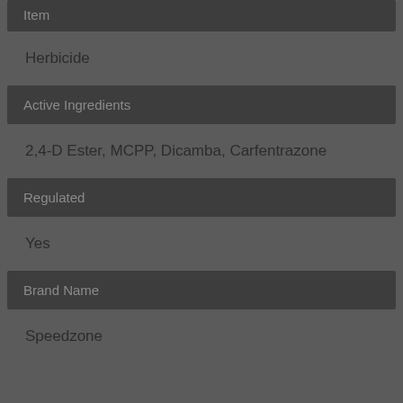Item
Herbicide
Active Ingredients
2,4-D Ester, MCPP, Dicamba, Carfentrazone
Regulated
Yes
Brand Name
Speedzone